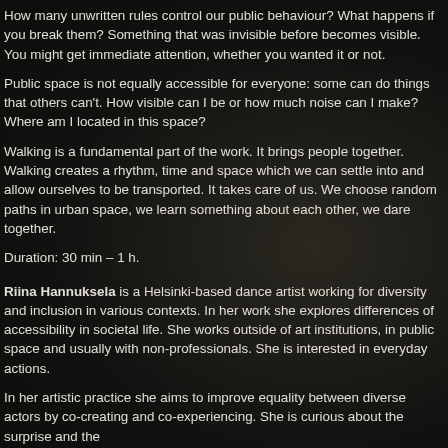How many unwritten rules control our public behaviour? What happens if you break them? Something that was invisible before becomes visible. You might get immediate attention, whether you wanted it or not.
Public space is not equally accessible for everyone: some can do things that others can't. How visible can I be or how much noise can I make? Where am I located in this space?
Walking is a fundamental part of the work. It brings people together. Walking creates a rhythm, time and space which we can settle into and allow ourselves to be transported. It takes care of us. We choose random paths in urban space, we learn something about each other, we dare together.
Duration: 30 min – 1 h.
Riina Hannuksela is a Helsinki-based dance artist working for diversity and inclusion in various contexts. In her work she explores differences of accessibility in societal life. She works outside of art institutions, in public space and usually with non-professionals. She is interested in everyday actions.
In her artistic practice she aims to improve equality between diverse actors by co-creating and co-experiencing. She is curious about the surprise and the